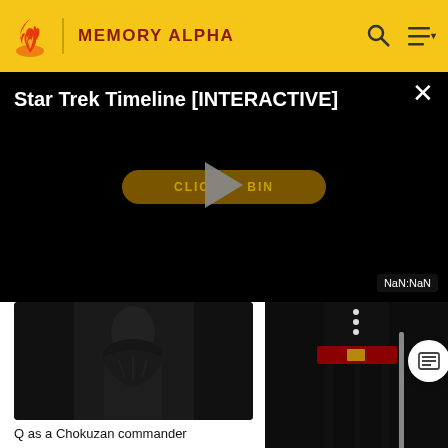MEMORY ALPHA
[Figure (screenshot): Star Trek Timeline [INTERACTIVE] video player overlay on black background with play button and 'CLICK TO BEGIN' button. Shows NaN:NaN timestamp.]
[Figure (photo): Photo of Q as a Chokuzan commander - dark figure in black outfit]
Q as a Chokuzan commander
[Figure (photo): Photo of figure in black uniform with red belt/sash and gold buckle]